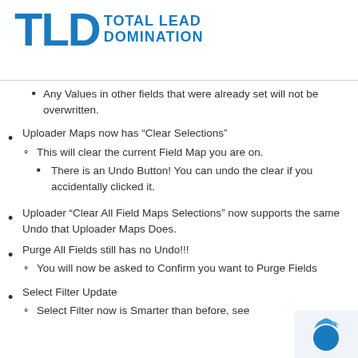[Figure (logo): TLD Total Lead Domination logo in blue]
Any Values in other fields that were already set will not be overwritten.
Uploader Maps now has “Clear Selections”
This will clear the current Field Map you are on.
There is an Undo Button! You can undo the clear if you accidentally clicked it.
Uploader “Clear All Field Maps Selections” now supports the same Undo that Uploader Maps Does.
Purge All Fields still has no Undo!!!
You will now be asked to Confirm you want to Purge Fields
Select Filter Update
Select Filter now is Smarter than before, see